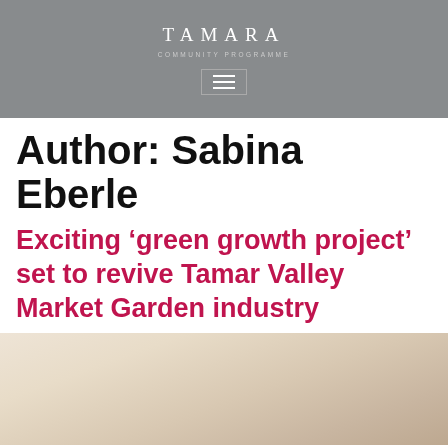TAMARA
Author: Sabina Eberle
Exciting ‘green growth project’ set to revive Tamar Valley Market Garden industry
[Figure (photo): Outdoor garden or landscape photo with soft beige and tan tones, blurred background]